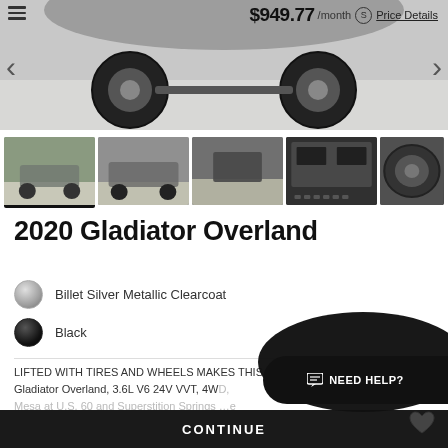[Figure (photo): Main vehicle photo showing 2020 Jeep Gladiator Overland in silver, with navigation arrows and price overlay]
$949.77 /month  Price Details
[Figure (photo): Thumbnail strip of 5 vehicle photos: exterior side views, front view, engine bay, wheel close-up]
2020 Gladiator Overland
Billet Silver Metallic Clearcoat
Black
LIFTED WITH TIRES AND WHEELS MAKES THIS A GREAT DEAL!!!!,  Gladiator Overland, 3.6L V6 24V VVT, 4WD, Mesa at U.S. 60 and Superstition Springs ...